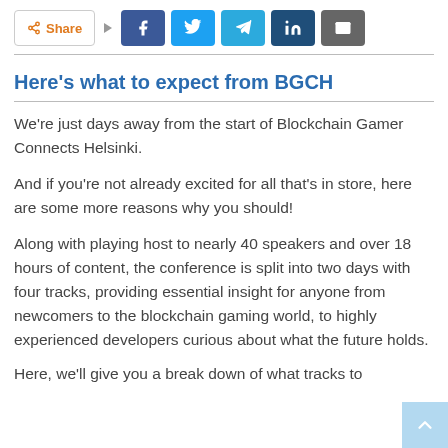[Figure (screenshot): Share bar with Share button and social media icons: Facebook, Twitter, Telegram, LinkedIn, Email]
Here's what to expect from BGCH
We're just days away from the start of Blockchain Gamer Connects Helsinki.
And if you're not already excited for all that's in store, here are some more reasons why you should!
Along with playing host to nearly 40 speakers and over 18 hours of content, the conference is split into two days with four tracks, providing essential insight for anyone from newcomers to the blockchain gaming world, to highly experienced developers curious about what the future holds.
Here, we'll give you a break down of what tracks to